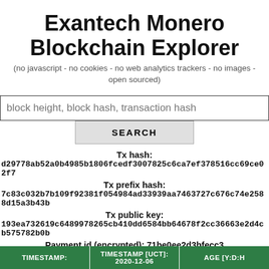Exantech Monero Blockchain Explorer
(no javascript - no cookies - no web analytics trackers - no images - open sourced)
block height, block hash, transaction hash
SEARCH
Tx hash:
d29778ab52a0b4985b1806fcedf3007825c6ca7ef378516cc69ce02f7
Tx prefix hash:
7c83c032b7b109f92381f054984ad33939aa7463727c676c74e2588d15a3b43b
Tx public key:
193ea732619c6489978265cb410dd6584bb64678f2cc36663e2d4cb575782b0b
Payment id (encrypted): 71be0ee2d3bfecc3
| TIMESTAMP: | TIMESTAMP [UCT]: 2020-12-06 | AGE [Y:D:H |
| --- | --- | --- |